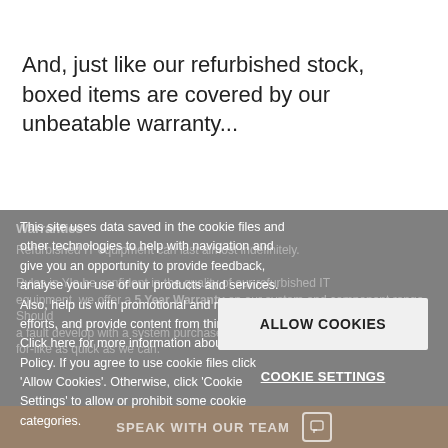And, just like our refurbished stock, boxed items are covered by our unbeatable warranty...
This site uses data saved in the cookie files and other technologies to help with navigation and give you an opportunity to provide feedback, analyse your use of our products and services. Also, help us with promotional and marketing efforts, and provide content from third parties. Click here for more information about Privacy Policy. If you agree to use cookie files click 'Allow Cookies'. Otherwise, click 'Cookie Settings' to allow or prohibit some cookie categories.
ALLOW COOKIES
COOKIE SETTINGS
SPEAK WITH OUR TEAM